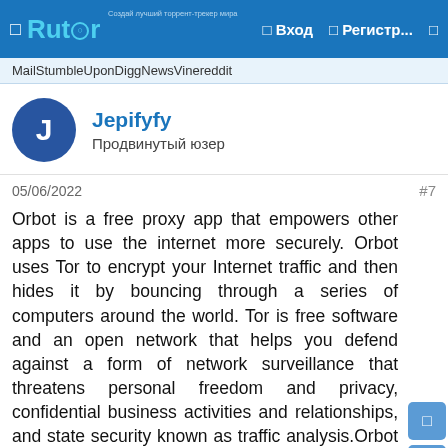Rutor — Вход — Регистр...
MailStumbleUponDiggNewsVinereddit
Jepifyfy
Продвинутый юзер
05/06/2022
#7
Orbot is a free proxy app that empowers other apps to use the internet more securely. Orbot uses Tor to encrypt your Internet traffic and then hides it by bouncing through a series of computers around the world. Tor is free software and an open network that helps you defend against a form of network surveillance that threatens personal freedom and privacy, confidential business activities and relationships, and state security known as traffic analysis.Orbot is the only app that creates a truly private internet connection. As the New York Times writes, "when a communication arrives from Tor, you never know where or whom it's from."Tor won the 2012 Electronic Frontier Foundation (EFF) Pioneer Award.★ ACCEPT